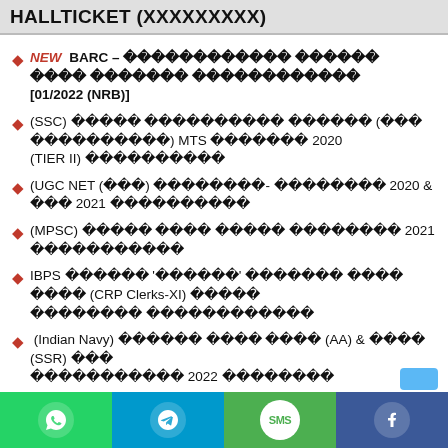HALLTICKET (XXXXXXXXX)
NEW BARC – [redacted text] [01/2022 (NRB)]
(SSC) [redacted text] MTS [redacted] 2020 (TIER II) [redacted]
(UGC NET ([redacted]) [redacted]- [redacted] 2020 & [redacted] 2021 [redacted]
(MPSC) [redacted text] 2021 [redacted]
IBPS [redacted] '[redacted]' [redacted] (CRP Clerks-XI) [redacted]
(Indian Navy) [redacted] (AA) & [redacted] (SSR) [redacted] 2022 [redacted]
→ More HallTicket